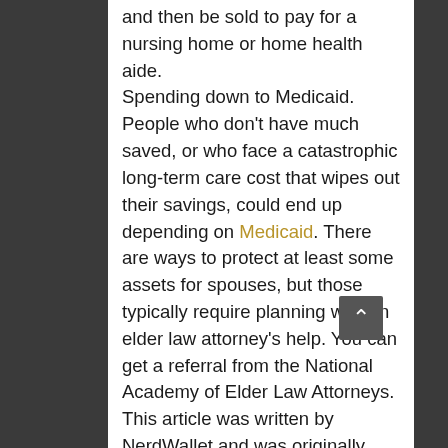and then be sold to pay for a nursing home or home health aide. Spending down to Medicaid. People who don't have much saved, or who face a catastrophic long-term care cost that wipes out their savings, could end up depending on Medicaid. There are ways to protect at least some assets for spouses, but those typically require planning with an elder law attorney's help. You can get a referral from the National Academy of Elder Law Attorneys. This article was written by NerdWallet and was originally published by The Associated Press.
https://www.nerdwallet.com/article/invest...